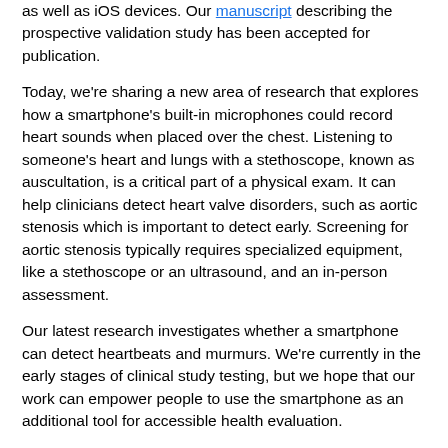as well as iOS devices. Our manuscript describing the prospective validation study has been accepted for publication.
Today, we're sharing a new area of research that explores how a smartphone's built-in microphones could record heart sounds when placed over the chest. Listening to someone's heart and lungs with a stethoscope, known as auscultation, is a critical part of a physical exam. It can help clinicians detect heart valve disorders, such as aortic stenosis which is important to detect early. Screening for aortic stenosis typically requires specialized equipment, like a stethoscope or an ultrasound, and an in-person assessment.
Our latest research investigates whether a smartphone can detect heartbeats and murmurs. We're currently in the early stages of clinical study testing, but we hope that our work can empower people to use the smartphone as an additional tool for accessible health evaluation.
Partnering with Northwestern Medicine to apply AI to improve maternal health
Ultrasound is a noninvasive diagnostic imaging method that uses high-frequency sound waves to create real-time pictures or videos of internal organs, the circulatory system, blood and lymph nodes, and—